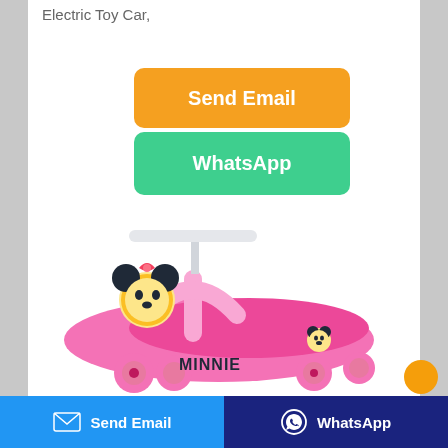Electric Toy Car,
Send Email
WhatsApp
[Figure (photo): Pink Minnie Mouse themed children's swing car ride-on toy with four pink wheels, a Minnie Mouse character figurehead, a white propeller/handle on top, and Minnie branding on the body.]
Send Email   WhatsApp